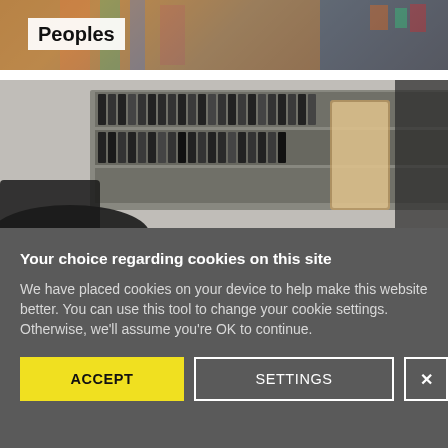[Figure (photo): Partial view of a colorful textile/clothing photo with a white overlay text box showing 'Peoples']
Peoples
[Figure (photo): Office or archive room with shelves full of binders and documents, a chair in the foreground]
Your choice regarding cookies on this site
We have placed cookies on your device to help make this website better. You can use this tool to change your cookie settings. Otherwise, we'll assume you're OK to continue.